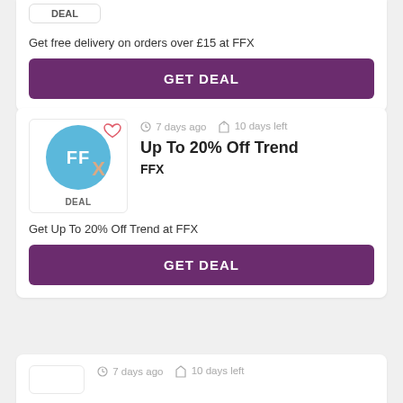[Figure (screenshot): FFX logo deal badge box (partial top card)]
Get free delivery on orders over £15 at FFX
GET DEAL
[Figure (screenshot): FFX circular logo with 'FFX' text in blue circle, heart icon overlay, DEAL badge below]
7 days ago  10 days left
Up To 20% Off Trend
FFX
Get Up To 20% Off Trend at FFX
GET DEAL
7 days ago  10 days left